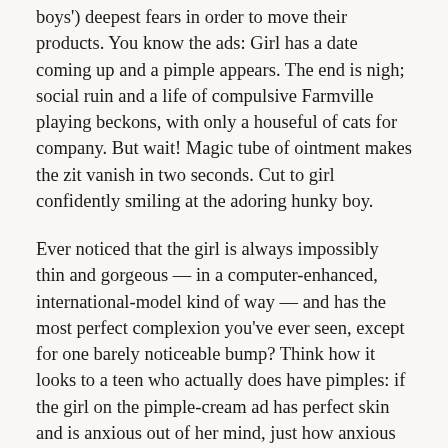boys') deepest fears in order to move their products. You know the ads: Girl has a date coming up and a pimple appears. The end is nigh; social ruin and a life of compulsive Farmville playing beckons, with only a houseful of cats for company. But wait! Magic tube of ointment makes the zit vanish in two seconds. Cut to girl confidently smiling at the adoring hunky boy.
Ever noticed that the girl is always impossibly thin and gorgeous — in a computer-enhanced, international-model kind of way — and has the most perfect complexion you've ever seen, except for one barely noticeable bump? Think how it looks to a teen who actually does have pimples: if the girl on the pimple-cream ad has perfect skin and is anxious out of her mind, just how anxious should she be? Awesome, now teen girls can feel not only the crushing anxiety of having pimples, but also play the compare-and-despair game with a TV f...